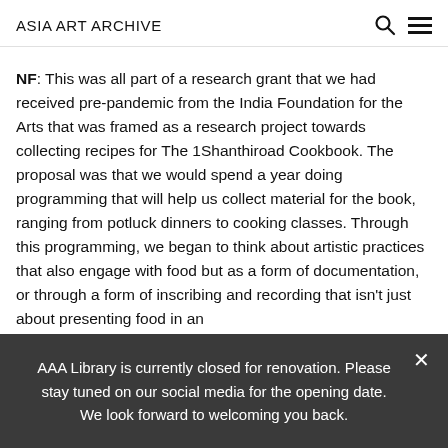ASIA ART ARCHIVE
NF: This was all part of a research grant that we had received pre-pandemic from the India Foundation for the Arts that was framed as a research project towards collecting recipes for The 1Shanthiroad Cookbook. The proposal was that we would spend a year doing programming that will help us collect material for the book, ranging from potluck dinners to cooking classes. Through this programming, we began to think about artistic practices that also engage with food but as a form of documentation, or through a form of inscribing and recording that isn't just about presenting food in an
AAA Library is currently closed for renovation. Please stay tuned on our social media for the opening date. We look forward to welcoming you back.